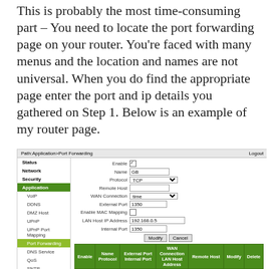This is probably the most time-consuming part – You need to locate the port forwarding page on your router. You're faced with many menus and the location and names are not universal. When you do find the appropriate page enter the port and ip details you gathered on Step 1. Below is an example of my router page.
[Figure (screenshot): Router admin interface screenshot showing port forwarding configuration page. Left sidebar with menu items: Status, Network, Security, Application (highlighted green), VoIP, DDNS, DMZ Host, UPnP, UPnP Port Mapping, Port Forwarding (highlighted light green), DNS Service, QoS, SNTP, IGMP, MLD, USB Storage, FTP Application. Main area shows form with fields: Enable (checked), Name: GB, Protocol: TCP, Remote Host (empty), WAN Connection: time, External Port: 1350, Enable MAC Mapping (unchecked), LAN Host IP Address: 192.168.0.5, Internal Port: 1350. Buttons: Modify, Cancel. Below is a green-header table with columns: Enable, Name/Protocol, External Port/Internal Port, WAN Connection/LAN Host Address, Remote Host, Modify, Delete. Row shows: green dot, GB, 1350, time.]